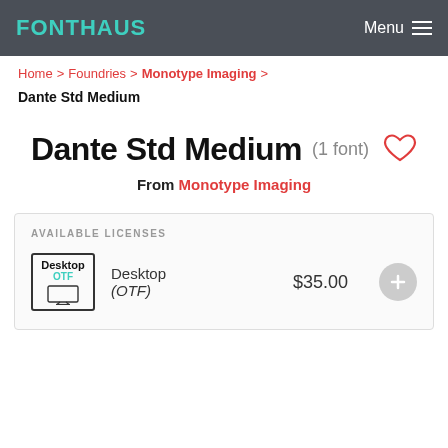FontHaus | Menu
Home > Foundries > Monotype Imaging >
Dante Std Medium
Dante Std Medium (1 font)
From Monotype Imaging
AVAILABLE LICENSES
| Icon | License | Price | Action |
| --- | --- | --- | --- |
| Desktop OTF [icon] | Desktop (OTF) | $35.00 | + |